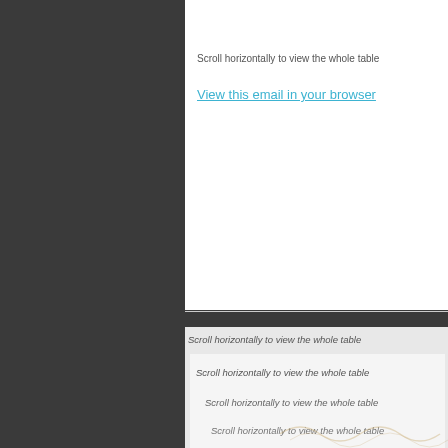Scroll horizontally to view the whole table
View this email in your browser
Scroll horizontally to view the whole table
Scroll horizontally to view the whole table
Scroll horizontally to view the whole table
Scroll horizontally to view the whole table